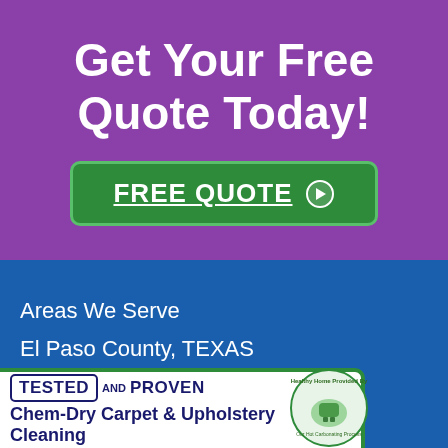Get Your Free Quote Today!
[Figure (other): Green button with text FREE QUOTE and arrow icon]
Areas We Serve
El Paso County, TEXAS
[Figure (infographic): Tested and Proven banner for Chem-Dry Carpet & Upholstery Cleaning with Healthy Home seal]